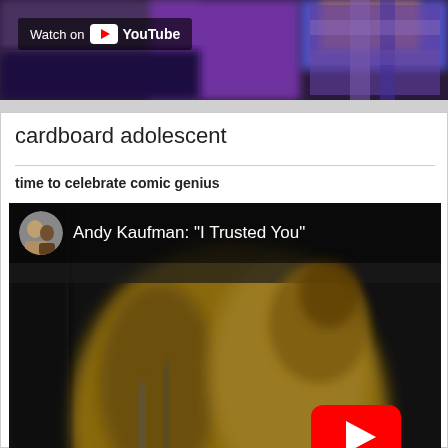[Figure (screenshot): YouTube video thumbnail strip at top of page showing colorful blurred concert/audience background with 'Watch on YouTube' button overlay]
cardboard adolescent
time to celebrate comic genius
[Figure (screenshot): YouTube embedded video thumbnail for 'Andy Kaufman: I Trusted You' showing a blurred vintage performance image with a YouTube play button overlay and channel avatar]